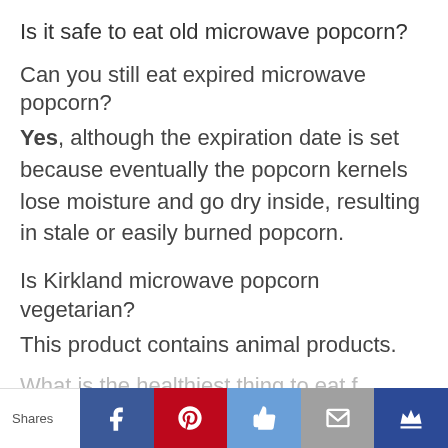Is it safe to eat old microwave popcorn?
Can you still eat expired microwave popcorn?
Yes, although the expiration date is set because eventually the popcorn kernels lose moisture and go dry inside, resulting in stale or easily burned popcorn.
Is Kirkland microwave popcorn vegetarian?
This product contains animal products.
What is the healthiest thing to eat f…